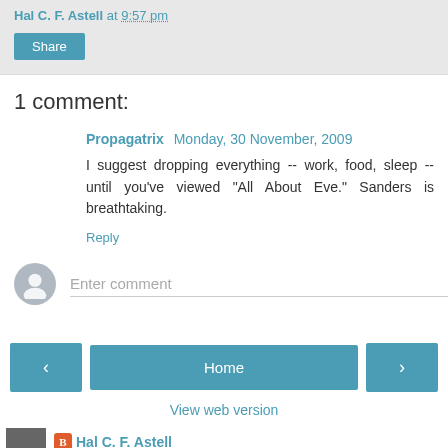Hal C. F. Astell at 9:57 pm
Share
1 comment:
Propagatrix  Monday, 30 November, 2009
I suggest dropping everything -- work, food, sleep -- until you've viewed "All About Eve." Sanders is breathtaking.
Reply
Enter comment
Home
View web version
Hal C. F. Astell